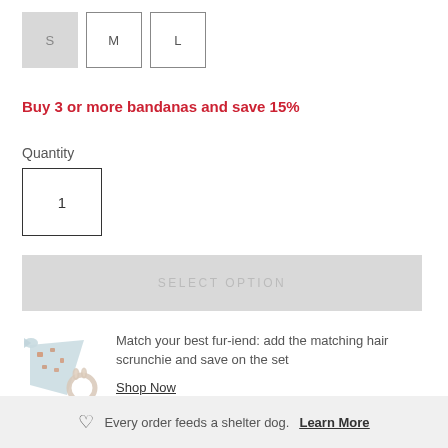S (selected), M, L — size selector buttons
Buy 3 or more bandanas and save 15%
Quantity
1
SELECT OPTION
[Figure (photo): Dog bandana and matching hair scrunchie product photo — a light blue bandana with an orange-rust pattern and a small bunny-ear hair scrunchie]
Match your best fur-iend: add the matching hair scrunchie and save on the set
Shop Now
Every order feeds a shelter dog. Learn More